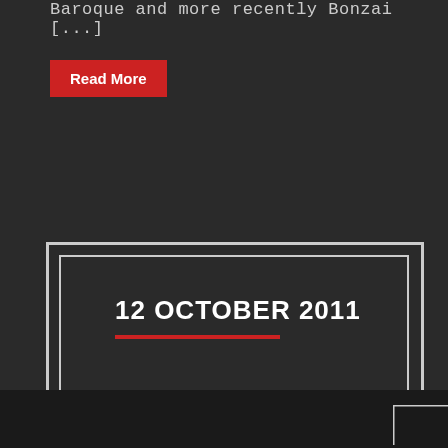Baroque and more recently Bonzai [...]
Read More
12 OCTOBER 2011